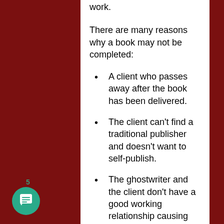work.
There are many reasons why a book may not be completed:
A client who passes away after the book has been delivered.
The client can't find a traditional publisher and doesn't want to self-publish.
The ghostwriter and the client don't have a good working relationship causing them to part ways before the book is